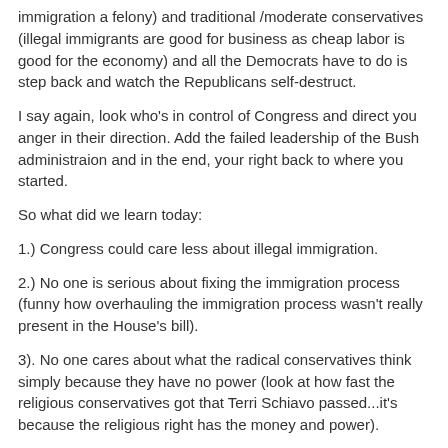immigration a felony) and traditional /moderate conservatives (illegal immigrants are good for business as cheap labor is good for the economy) and all the Democrats have to do is step back and watch the Republicans self-destruct.
I say again, look who's in control of Congress and direct you anger in their direction. Add the failed leadership of the Bush administraion and in the end, your right back to where you started.
So what did we learn today:
1.) Congress could care less about illegal immigration.
2.) No one is serious about fixing the immigration process (funny how overhauling the immigration process wasn't really present in the House's bill).
3). No one cares about what the radical conservatives think simply because they have no power (look at how fast the religious conservatives got that Terri Schiavo passed...it's because the religious right has the money and power).